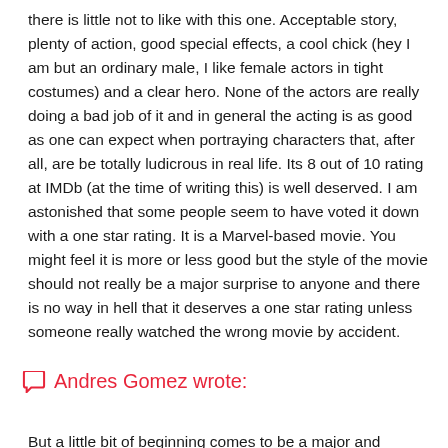there is little not to like with this one. Acceptable story, plenty of action, good special effects, a cool chick (hey I am but an ordinary male, I like female actors in tight costumes) and a clear hero. None of the actors are really doing a bad job of it and in general the acting is as good as one can expect when portraying characters that, after all, are be totally ludicrous in real life. Its 8 out of 10 rating at IMDb (at the time of writing this) is well deserved. I am astonished that some people seem to have voted it down with a one star rating. It is a Marvel-based movie. You might feel it is more or less good but the style of the movie should not really be a major surprise to anyone and there is no way in hell that it deserves a one star rating unless someone really watched the wrong movie by accident.
Andres Gomez wrote:
But a little bit of beginning comes to be a major and